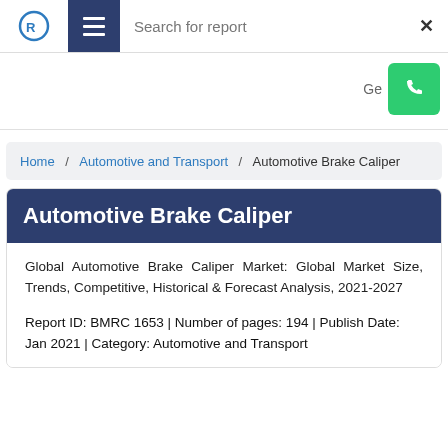Search for report
Home / Automotive and Transport / Automotive Brake Caliper
Automotive Brake Caliper
Global Automotive Brake Caliper Market: Global Market Size, Trends, Competitive, Historical & Forecast Analysis, 2021-2027
Report ID: BMRC 1653 | Number of pages: 194 | Publish Date: Jan 2021 | Category: Automotive and Transport